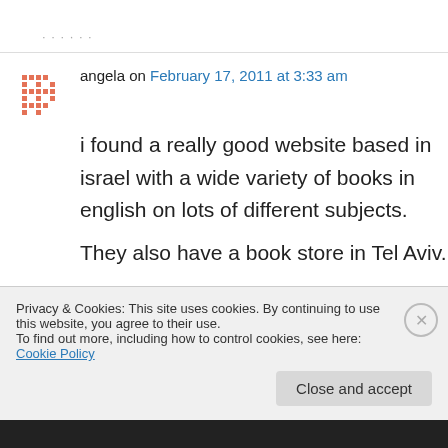angela on February 17, 2011 at 3:33 am
i found a really good website based in israel with a wide variety of books in english on lots of different subjects.
They also have a book store in Tel Aviv.
Their prices are much cheaper than Steimetzky
Privacy & Cookies: This site uses cookies. By continuing to use this website, you agree to their use.
To find out more, including how to control cookies, see here: Cookie Policy
Close and accept